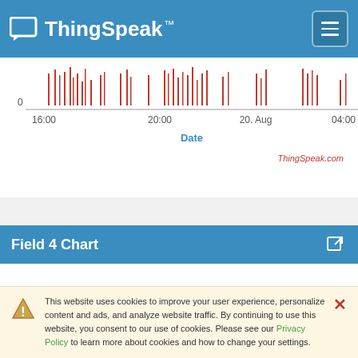[Figure (logo): ThingSpeak logo with speech bubble icon and hamburger menu button on blue navigation bar]
[Figure (continuous-plot): Partial bar chart showing date-based data with red vertical bars along x-axis. X-axis labels: 16:00, 20:00, 20. Aug, 04:00. Y-axis shows 0. ThingSpeak.com watermark. X-axis label: Date.]
Field 4 Chart
WEATHER STATION ARIDAIA
This website uses cookies to improve your user experience, personalize content and ads, and analyze website traffic. By continuing to use this website, you consent to our use of cookies. Please see our Privacy Policy to learn more about cookies and how to change your settings.